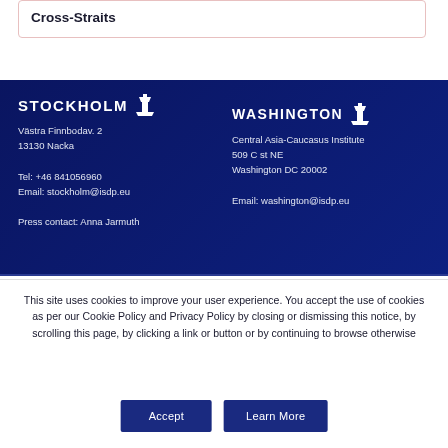Cross-Straits
STOCKHOLM
Västra Finnbodav. 2
13130 Nacka

Tel: +46 841056960
Email: stockholm@isdp.eu

Press contact: Anna Jarmuth
WASHINGTON
Central Asia-Caucasus Institute
509 C st NE
Washington DC 20002

Email: washington@isdp.eu
This site uses cookies to improve your user experience. You accept the use of cookies as per our Cookie Policy and Privacy Policy by closing or dismissing this notice, by scrolling this page, by clicking a link or button or by continuing to browse otherwise
Accept
Learn More